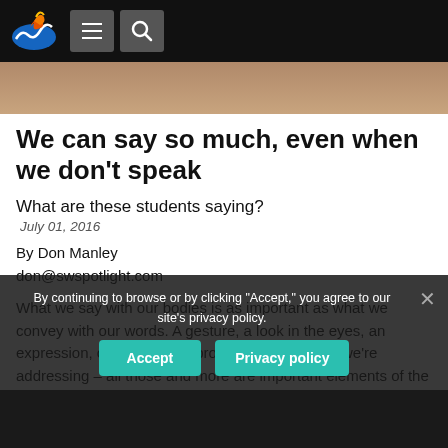Nav bar with logo, menu, and search icons
[Figure (photo): Partial cropped photo strip of students]
We can say so much, even when we don't speak
What are these students saying?
July 01, 2016
By Don Manley
don@swspotlight.com
What we say with our bodies is as important as what we convey with our words. A gesture, a look in the eyes, an expression, crossed arms, proximity to someone we're addressing – all those and more are important elements of the unspoken communication that is essential to human interaction. "You use it in every part of your life," said [...]
By continuing to browse or by clicking "Accept," you agree to our site's privacy policy.